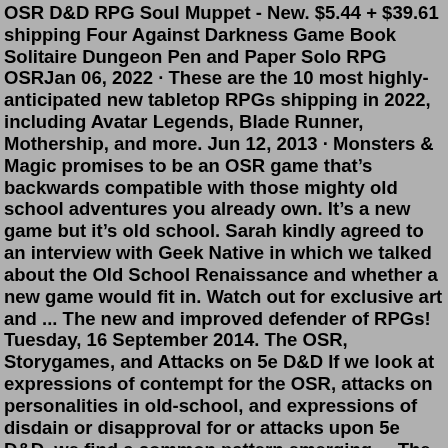OSR D&D RPG Soul Muppet - New. $5.44 + $39.61 shipping Four Against Darkness Game Book Solitaire Dungeon Pen and Paper Solo RPG OSRJan 06, 2022 · These are the 10 most highly-anticipated new tabletop RPGs shipping in 2022, including Avatar Legends, Blade Runner, Mothership, and more. Jun 12, 2013 · Monsters & Magic promises to be an OSR game that's backwards compatible with those mighty old school adventures you already own. It's a new game but it's old school. Sarah kindly agreed to an interview with Geek Native in which we talked about the Old School Renaissance and whether a new game would fit in. Watch out for exclusive art and ... The new and improved defender of RPGs! Tuesday, 16 September 2014. The OSR, Storygames, and Attacks on 5e D&D If we look at expressions of contempt for the OSR, attacks on personalities in old-school, and expressions of disdain or disapproval for or attacks upon 5e D&D, we find a common pattern emerging. ...The runaway success of Elden Ring, FromSoftware's new dark fantasy action RPG, has